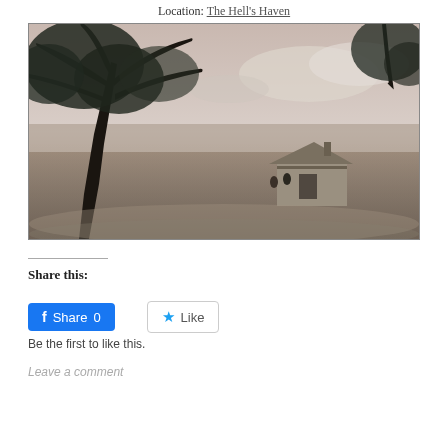Location: The Hell's Haven
[Figure (photo): A moody, desaturated landscape painting showing a large gnarled tree on the left side, a small wooden shed or barn in the middle-right, flat misty terrain, and a pale sky with clouds. The scene has a post-apocalyptic or desolate atmosphere.]
Share this:
Share 0
Like
Be the first to like this.
Leave a comment